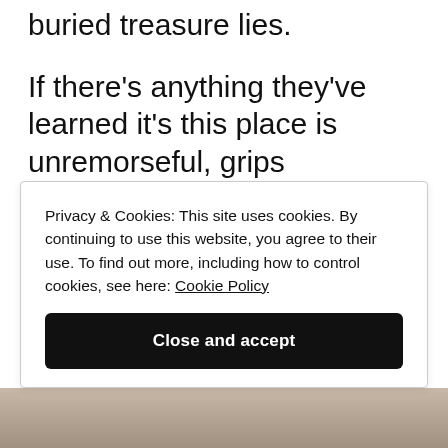buried treasure lies.
If there's anything they've learned it's this place is unremorseful, grips unwillingness to give. But its name has been said one thousand times over, it teases with golden grins.
And if you listen closely there, you'll hear chanting through the wind,
Privacy & Cookies: This site uses cookies. By continuing to use this website, you agree to their use. To find out more, including how to control cookies, see here: Cookie Policy
Close and accept
[Figure (photo): Partial photo strip at the bottom of the page showing people outdoors]